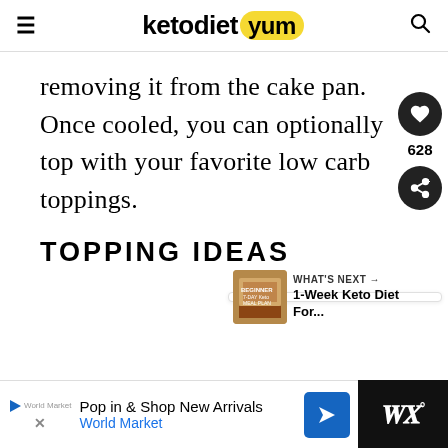ketodiet yum
removing it from the cake pan. Once cooled, you can optionally top with your favorite low carb toppings.
TOPPING IDEAS
Pop in & Shop New Arrivals World Market